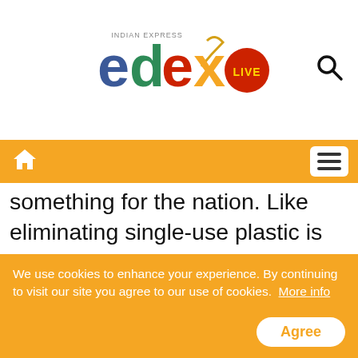[Figure (logo): EdexLive logo from Indian Express — colorful letters e, d, e, x in blue, green, red, orange with a red circle containing 'LIVE' in yellow, and Indian Express text above]
Navigation bar with home icon and menu button on orange background
something for the nation. Like eliminating single-use plastic is not just Narendra Modi's idea. The people of the country have taken it upon themselves to make India free of single use plastic as we will celebrate Gandhiji's 150th birth anniversary on October 2. These are extraordinary times and we should not leave any opportunity that enables us to transform our nation," he said.
Taking a dig at the former UPA dispensation,
We use cookies to enhance your experience. By continuing to visit our site you agree to our use of cookies. More info